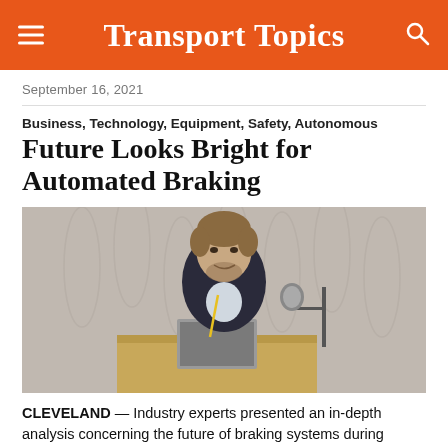Transport Topics
September 16, 2021
Business, Technology, Equipment, Safety, Autonomous
Future Looks Bright for Automated Braking
[Figure (photo): A man in a dark suit speaking at a podium with a laptop and microphone, in a conference setting with a grey patterned backdrop.]
CLEVELAND — Industry experts presented an in-depth analysis concerning the future of braking systems during